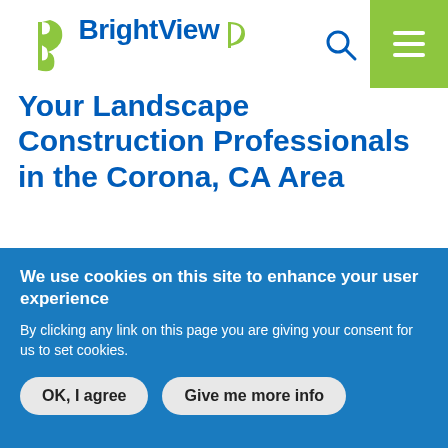BrightView [logo]
Your Landscape Construction Professionals in the Corona, CA Area
BrightView Landscape Construction Corona, CA offers a variety of landscape construction services—such as pre-development, site-development, hardscapes, softscapes, water features, irrigation and design-build—all delivered with unrivaled technical expertise.
We use cookies on this site to enhance your user experience
By clicking any link on this page you are giving your consent for us to set cookies.
OK, I agree   Give me more info